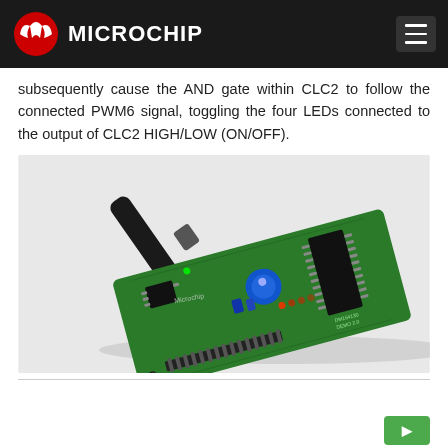Microchip
subsequently cause the AND gate within CLC2 to follow the connected PWM6 signal, toggling the four LEDs connected to the output of CLC2 HIGH/LOW (ON/OFF).
[Figure (photo): Photo of a Microchip development board (green PCB) with a USB cable connected, blue potentiometer, red LEDs, and IC chips visible, placed on a white surface.]